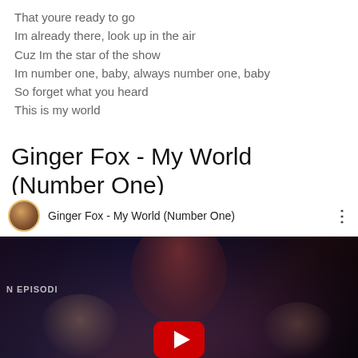That youre ready to go
Im already there, look up in the air
Cuz Im the star of the show
Im number one, baby, always number one, baby
So forget what you heard
This is my world
Ginger Fox - My World (Number One)
[Figure (screenshot): YouTube video player screenshot showing 'Ginger Fox - My World (Number One)' with a dark video thumbnail featuring several people, a YouTube play button at the bottom center, and 'N EPISODI' text watermark on the left.]